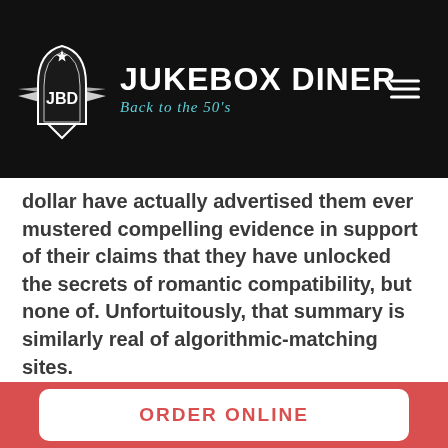Jukebox Diner — Back to the 50's
dollar have actually advertised them ever mustered compelling evidence in support of their claims that they have unlocked the secrets of romantic compatibility, but none of. Unfortuitously, that summary is similarly real of algorithmic-matching sites. Without question, within the months and a long time, the major websites and their advisors will create reports which claim to supply proof that the site-generated partners
ORDER ONLINE